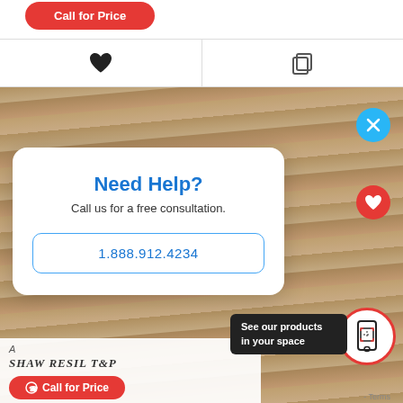[Figure (screenshot): E-commerce product page screenshot showing a 'Call for Price' button partially visible at top, a heart/wishlist icon and copy icon row, a flooring product image with wood texture background, a popup modal overlay with 'Need Help? Call us for a free consultation.' and phone number 1.888.912.4234, a blue close (X) button, a red heart button, an AR camera button with 'See our products in your space' tooltip, and a partial product card at bottom showing 'Shaw Resil T&P' name and another 'Call for Price' button.]